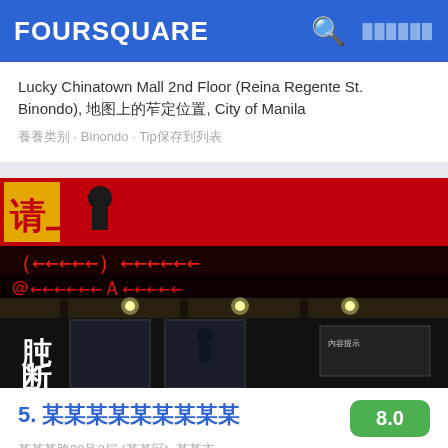FOURSQUARE
Lucky Chinatown Mall 2nd Floor (Reina Regente St. Binondo), 菲律宾, City of Manila
餐厅类别 · Binondo · Tip保存到列表
[Figure (photo): Exterior photo of a Chinese restaurant with red LED marquee sign displaying Chinese characters and arrows, dark storefront with glass doors and ceiling lights]
5. 某某某某某某某某某
某某某路30号2层 (某某区), 某某市
某某类别 · Wànhuá Qū · 5个人已在这里打卡
Terry ¬_(ʘ)_/¬: The freshest meat, fruits and veggies. Unli Hagen Daz